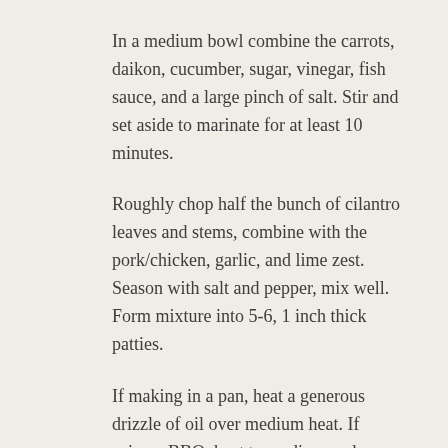In a medium bowl combine the carrots, daikon, cucumber, sugar, vinegar, fish sauce, and a large pinch of salt. Stir and set aside to marinate for at least 10 minutes.
Roughly chop half the bunch of cilantro leaves and stems, combine with the pork/chicken, garlic, and lime zest. Season with salt and pepper, mix well. Form mixture into 5-6, 1 inch thick patties.
If making in a pan, heat a generous drizzle of oil over medium heat. If using a BBQ, heat to medium and grease grill with an oiled paper towel.